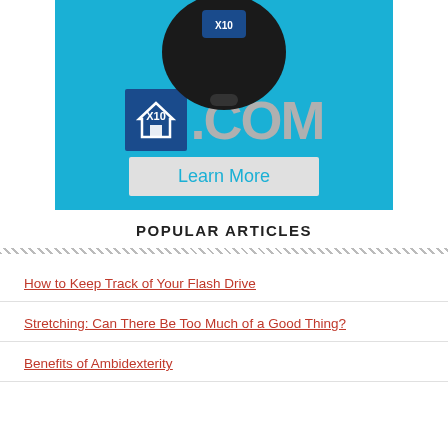[Figure (photo): X10.com advertisement banner showing a black key fob remote control on a blue background with the X10.com logo and a 'Learn More' button]
POPULAR ARTICLES
How to Keep Track of Your Flash Drive
Stretching: Can There Be Too Much of a Good Thing?
Benefits of Ambidexterity